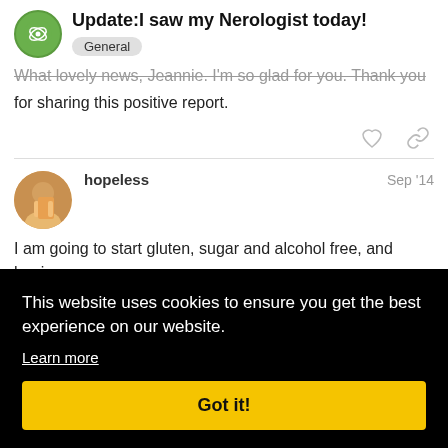Update:I saw my Nerologist today!
General
What lovely news, Jeannie. I'm so glad for you. Thank you for sharing this positive report.
hopeless   Sep '14
I am going to start gluten, sugar and alcohol free, and hoping
Sep '14
[Figure (screenshot): Cookie consent banner overlay with black background, text 'This website uses cookies to ensure you get the best experience on our website.', a 'Learn more' underlined link, and a yellow 'Got it!' button.]
6